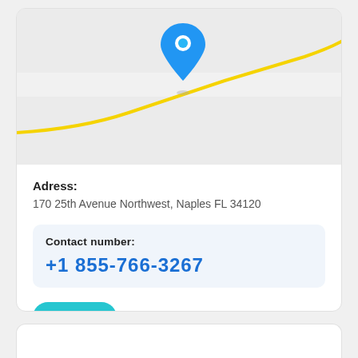[Figure (map): Map screenshot with a blue location pin marker and a yellow road line visible in the upper portion of the card.]
Adress:
170 25th Avenue Northwest, Naples FL 34120
Contact number:
+1 855-766-3267
Open
Rating: